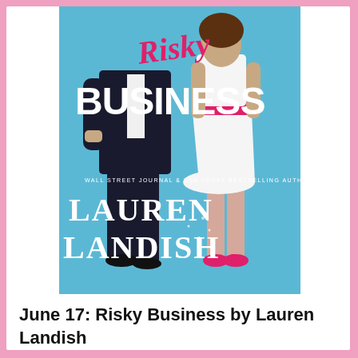[Figure (illustration): Book cover for 'Risky Business' by Lauren Landish. Features a man in a black tuxedo and a woman in a white dress with a pink belt and pink heels against a light blue background. The title 'Risky Business' is displayed with 'Risky' in pink handwritten script and 'BUSINESS' in large white bold letters. Below: 'WALL STREET JOURNAL & USA TODAY BESTSELLING AUTHOR' in small text, followed by 'LAUREN LANDISH' in large white serif letters.]
June 17: Risky Business by Lauren Landish